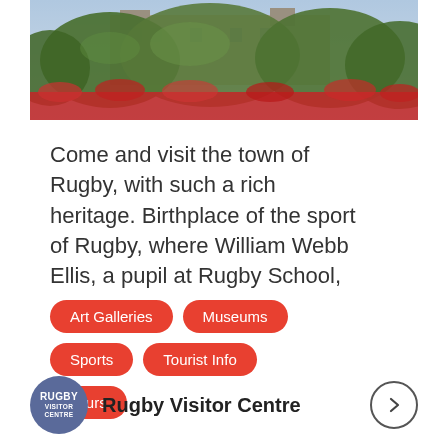[Figure (photo): Photograph of Rugby town with trees and flowers in the foreground, buildings visible in background]
Come and visit the town of Rugby, with such a rich heritage. Birthplace of the sport of Rugby, where William Webb Ellis, a pupil at Rugby School, ...
Art Galleries
Museums
Sports
Tourist Info
Tours
Rugby Visitor Centre